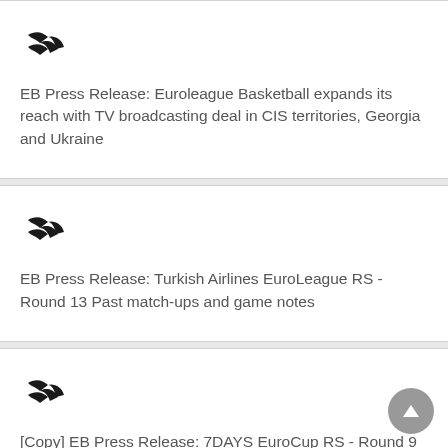[Figure (logo): Euroleague Basketball logo - stylized arrow/wing mark in black]
EB Press Release: Euroleague Basketball expands its reach with TV broadcasting deal in CIS territories, Georgia and Ukraine
[Figure (logo): Euroleague Basketball logo - stylized arrow/wing mark in black]
EB Press Release: Turkish Airlines EuroLeague RS - Round 13 Past match-ups and game notes
[Figure (logo): Euroleague Basketball logo - stylized arrow/wing mark in black]
[Copy] EB Press Release: 7DAYS EuroCup RS - Round 9 Past match-ups and game notes